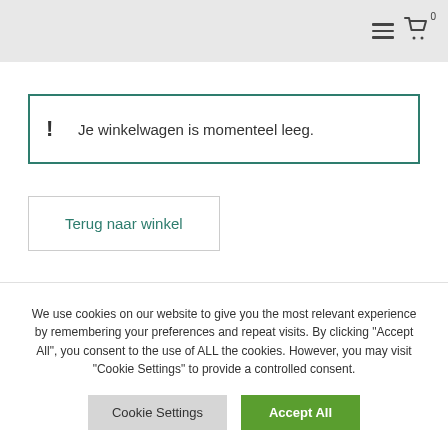≡ 🛒 0
! Je winkelwagen is momenteel leeg.
Terug naar winkel
We use cookies on our website to give you the most relevant experience by remembering your preferences and repeat visits. By clicking "Accept All", you consent to the use of ALL the cookies. However, you may visit "Cookie Settings" to provide a controlled consent.
Cookie Settings | Accept All